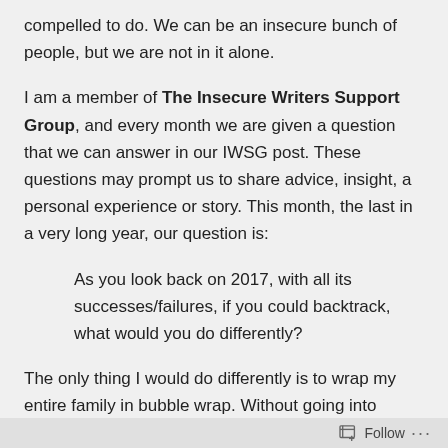compelled to do. We can be an insecure bunch of people, but we are not in it alone.
I am a member of The Insecure Writers Support Group, and every month we are given a question that we can answer in our IWSG post. These questions may prompt us to share advice, insight, a personal experience or story. This month, the last in a very long year, our question is:
As you look back on 2017, with all its successes/failures, if you could backtrack, what would you do differently?
The only thing I would do differently is to wrap my entire family in bubble wrap. Without going into detail, let me just say that seeing the inside of nine emergency rooms in twelve months is
Follow ...